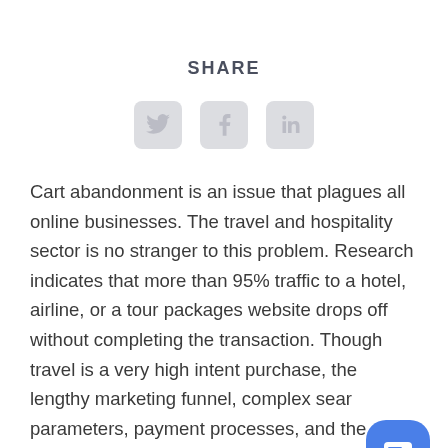SHARE
[Figure (infographic): Three social media icon buttons: Twitter bird icon, Facebook 'f' icon, and LinkedIn 'in' icon, all rendered in light gray rounded square buttons]
Cart abandonment is an issue that plagues all online businesses. The travel and hospitality sector is no stranger to this problem. Research indicates that more than 95% traffic to a hotel, airline, or a tour packages website drops off without completing the transaction. Though travel is a very high intent purchase, the lengthy marketing funnel, complex search parameters, payment processes, and the